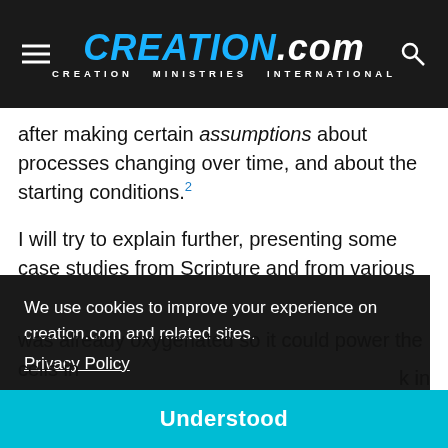CREATION.com — CREATION MINISTRIES INTERNATIONAL
after making certain assumptions about processes changing over time, and about the starting conditions.2
I will try to explain further, presenting some case studies from Scripture and from various Christians, including the errant but often-misunderstood ideas of Philip Gosse.
What would be observed
We use cookies to improve your experience on creation.com and related sites. Privacy Policy
was already oxygenated so it could power the cells in